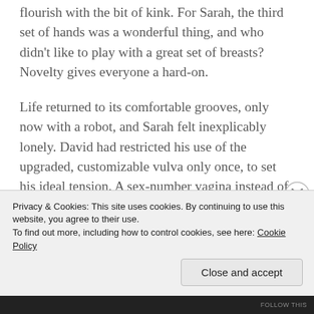flourish with the bit of kink. For Sarah, the third set of hands was a wonderful thing, and who didn't like to play with a great set of breasts? Novelty gives everyone a hard-on.
Life returned to its comfortable grooves, only now with a robot, and Sarah felt inexplicably lonely. David had restricted his use of the upgraded, customizable vulva only once, to set his ideal tension. A sex-number vagina instead of a sleep-number bed. But Sarah had always loved to make her lovers, including David, scream. It made her feel powerful and alive. Alex,
Privacy & Cookies: This site uses cookies. By continuing to use this website, you agree to their use.
To find out more, including how to control cookies, see here: Cookie Policy
Close and accept